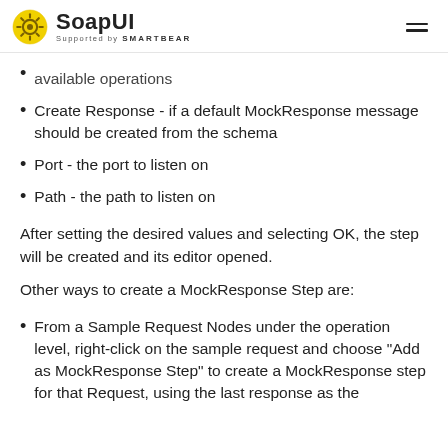SoapUI — Supported by SMARTBEAR
available operations
Create Response - if a default MockResponse message should be created from the schema
Port - the port to listen on
Path - the path to listen on
After setting the desired values and selecting OK, the step will be created and its editor opened.
Other ways to create a MockResponse Step are:
From a Sample Request Nodes under the operation level, right-click on the sample request and choose "Add as MockResponse Step" to create a MockResponse step for that Request, using the last response as the